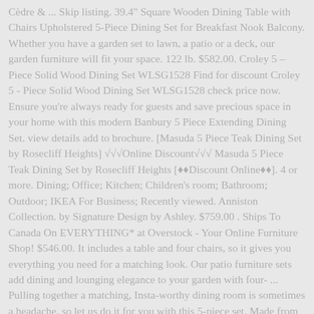Cèdre & ... Skip listing. 39.4" Square Wooden Dining Table with Chairs Upholstered 5-Piece Dining Set for Breakfast Nook Balcony. Whether you have a garden set to lawn, a patio or a deck, our garden furniture will fit your space. 122 lb. $582.00. Croley 5 – Piece Solid Wood Dining Set WLSG1528 Find for discount Croley 5 - Piece Solid Wood Dining Set WLSG1528 check price now. Ensure you're always ready for guests and save precious space in your home with this modern Banbury 5 Piece Extending Dining Set. view details add to brochure. [Masuda 5 Piece Teak Dining Set by Rosecliff Heights] √√√Online Discount√√√ Masuda 5 Piece Teak Dining Set by Rosecliff Heights [♦♦Discount Online♦♦]. 4 or more. Dining; Office; Kitchen; Children's room; Bathroom; Outdoor; IKEA For Business; Recently viewed. Anniston Collection. by Signature Design by Ashley. $759.00 . Ships To Canada On EVERYTHING* at Overstock - Your Online Furniture Shop! $546.00. It includes a table and four chairs, so it gives you everything you need for a matching look. Our patio furniture sets add dining and lounging elegance to your garden with four- ... Pulling together a matching, Insta-worthy dining room is sometimes a headache, so let us do it for you with this 5-piece set. Made from cast aluminum, the set includes 4 dining chairs and 1 mesh table. 5-piece dining set from the Harper collection. Customer Rating. online